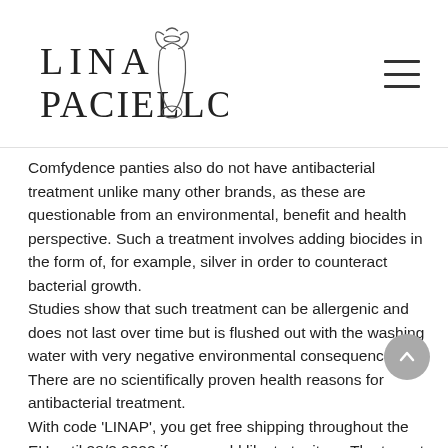[Figure (logo): Lina Paciello brand logo with stylized text 'LINA PACIELLO' and an amphora/vase illustration]
Comfydence panties also do not have antibacterial treatment unlike many other brands, as these are questionable from an environmental, benefit and health perspective. Such a treatment involves adding biocides in the form of, for example, silver in order to counteract bacterial growth.
Studies show that such treatment can be allergenic and does not last over time but is flushed out with the washing water with very negative environmental consequences. There are no scientifically proven health reasons for antibacterial treatment.
With code 'LINAP', you get free shipping throughout the EU until 28/2 2022 if you would like to try it on. The try out